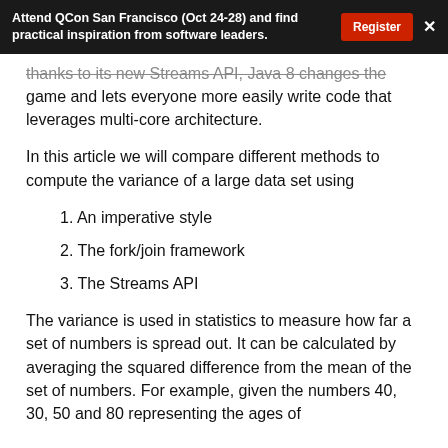Attend QCon San Francisco (Oct 24-28) and find practical inspiration from software leaders. Register ×
thanks to its new Streams API, Java 8 changes the game and lets everyone more easily write code that leverages multi-core architecture.
In this article we will compare different methods to compute the variance of a large data set using
1. An imperative style
2. The fork/join framework
3. The Streams API
The variance is used in statistics to measure how far a set of numbers is spread out. It can be calculated by averaging the squared difference from the mean of the set of numbers. For example, given the numbers 40, 30, 50 and 80 representing the ages of